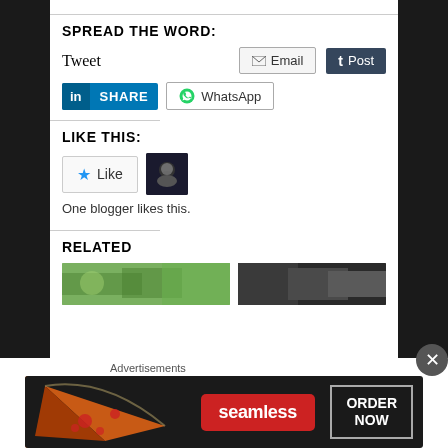SPREAD THE WORD:
Tweet   Email   Post
in SHARE   WhatsApp
LIKE THIS:
★ Like
One blogger likes this.
RELATED
[Figure (photo): Two thumbnail images for related articles]
Advertisements
[Figure (infographic): Seamless food delivery advertisement banner with pizza image and ORDER NOW button]